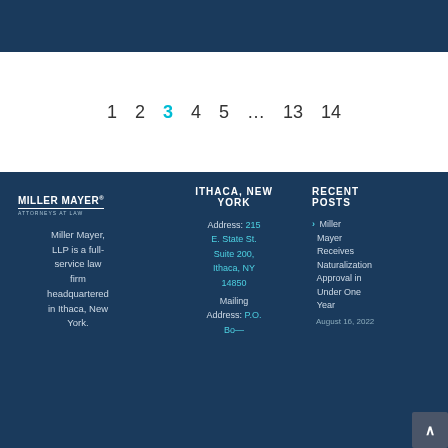1  2  3  4  5  ...  13  14
Miller Mayer, LLP is a full-service law firm headquartered in Ithaca, New York.
ITHACA, NEW YORK
Address: 215 E. State St. Suite 200, Ithaca, NY 14850 Mailing Address: P.O. Box 6435
RECENT POSTS
Miller Mayer Receives Naturalization Approval in Under One Year
August 16, 2022